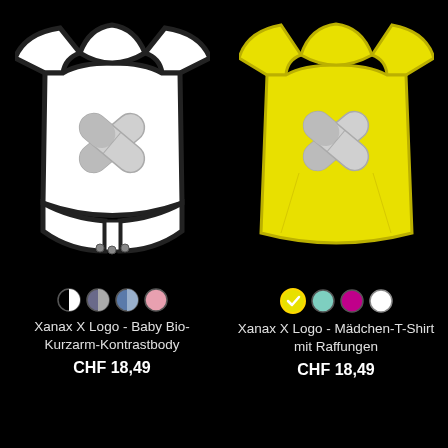[Figure (photo): White baby bio short-arm contrast bodysuit with Xanax X Logo design (crossed pill tablets) on black background]
Xanax X Logo - Baby Bio-Kurzarm-Kontrastbody
CHF 18,49
[Figure (photo): Yellow girls t-shirt with ruching and Xanax X Logo design (crossed pill tablets) on black background]
Xanax X Logo - Mädchen-T-Shirt mit Raffungen
CHF 18,49